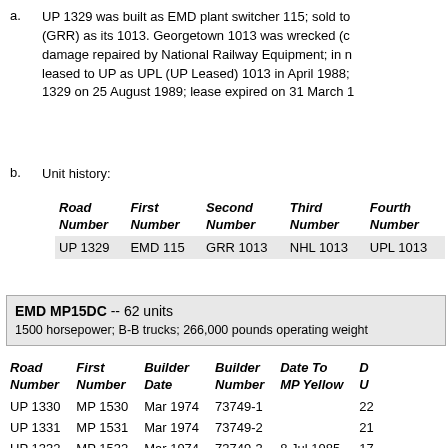a. UP 1329 was built as EMD plant switcher 115; sold to (GRR) as its 1013. Georgetown 1013 was wrecked (c damage repaired by National Railway Equipment; in n leased to UP as UPL (UP Leased) 1013 in April 1988; 1329 on 25 August 1989; lease expired on 31 March 1
b. Unit history:
| Road Number | First Number | Second Number | Third Number | Fourth Number |
| --- | --- | --- | --- | --- |
| UP 1329 | EMD 115 | GRR 1013 | NHL 1013 | UPL 1013 |
EMD MP15DC -- 62 units
1500 horsepower; B-B trucks; 266,000 pounds operating weight
| Road Number | First Number | Builder Date | Builder Number | Date To MP Yellow | D U |
| --- | --- | --- | --- | --- | --- |
| UP 1330 | MP 1530 | Mar 1974 | 73749-1 |  | 22 |
| UP 1331 | MP 1531 | Mar 1974 | 73749-2 |  | 21 |
| UP 1332 | MP 1532 | Mar 1974 | 73749-3 | 8 Jul 1985 | 17 |